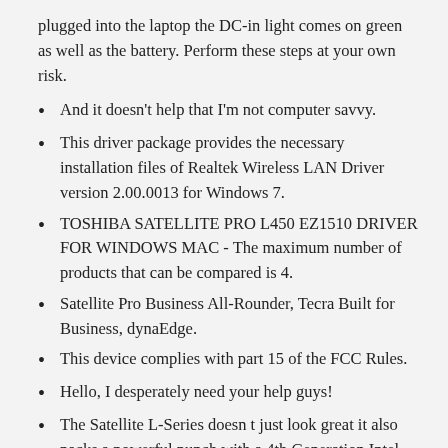plugged into the laptop the DC-in light comes on green as well as the battery. Perform these steps at your own risk.
And it doesn't help that I'm not computer savvy.
This driver package provides the necessary installation files of Realtek Wireless LAN Driver version 2.00.0013 for Windows 7.
TOSHIBA SATELLITE PRO L450 EZ1510 DRIVER FOR WINDOWS MAC - The maximum number of products that can be compared is 4.
Satellite Pro Business All-Rounder, Tecra Built for Business, dynaEdge.
This device complies with part 15 of the FCC Rules.
Hello, I desperately need your help guys!
The Satellite L-Series doesn t just look great it also packs a powerful punch with a 4th Generation Intel Core or AMD A Series processor, up to 12GB of memory and 1TB of storage.